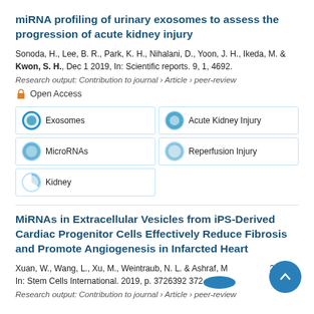miRNA profiling of urinary exosomes to assess the progression of acute kidney injury
Sonoda, H., Lee, B. R., Park, K. H., Nihalani, D., Yoon, J. H., Ikeda, M. & Kwon, S. H., Dec 1 2019, In: Scientific reports. 9, 1, 4692.
Research output: Contribution to journal › Article › peer-review
Open Access
Exosomes
Acute Kidney Injury
MicroRNAs
Reperfusion Injury
Kidney
MiRNAs in Extracellular Vesicles from iPS-Derived Cardiac Progenitor Cells Effectively Reduce Fibrosis and Promote Angiogenesis in Infarcted Heart
Xuan, W., Wang, L., Xu, M., Weintraub, N. L. & Ashraf, M., 2019, In: Stem Cells International. 2019, p. 3726392 3726392.
Research output: Contribution to journal › Article › peer-review